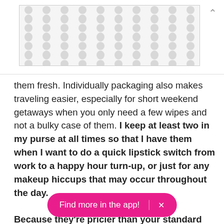[Figure (illustration): Decorative pattern image with repeating grey teardrop/circle shapes on white background, bordered rectangle]
them fresh. Individually packaging also makes traveling easier, especially for short weekend getaways when you only need a few wipes and not a bulky case of them. I keep at least two in my purse at all times so that I have them when I want to do a quick lipstick switch from work to a happy hour turn-up, or just for any makeup hiccups that may occur throughout the day.

Because they're pricier than your standard makeup wipes, I recommend using if a) you're traveling and want something individually wrapped that won't dry out [obscured] itive skin that reacts to the chemical ingredients in other
Find more in the app!   ×